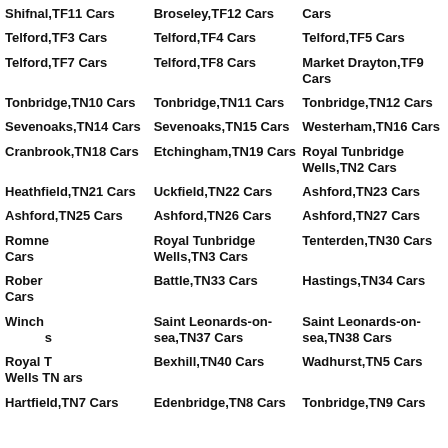Shifnal,TF11 Cars
Broseley,TF12 Cars
Cars
Telford,TF3 Cars
Telford,TF4 Cars
Telford,TF5 Cars
Telford,TF7 Cars
Telford,TF8 Cars
Market Drayton,TF9 Cars
Tonbridge,TN10 Cars
Tonbridge,TN11 Cars
Tonbridge,TN12 Cars
Sevenoaks,TN14 Cars
Sevenoaks,TN15 Cars
Westerham,TN16 Cars
Cranbrook,TN18 Cars
Etchingham,TN19 Cars
Royal Tunbridge Wells,TN2 Cars
Heathfield,TN21 Cars
Uckfield,TN22 Cars
Ashford,TN23 Cars
Ashford,TN25 Cars
Ashford,TN26 Cars
Ashford,TN27 Cars
Romney... Cars
Royal Tunbridge Wells,TN3 Cars
Tenterden,TN30 Cars
Roberts... Cars
Battle,TN33 Cars
Hastings,TN34 Cars
Winch... s
Saint Leonards-on-sea,TN37 Cars
Saint Leonards-on-sea,TN38 Cars
Royal T... ars
Bexhill,TN40 Cars
Wadhurst,TN5 Cars
Hartfield,TN7 Cars
Edenbridge,TN8 Cars
Tonbridge,TN9 Cars